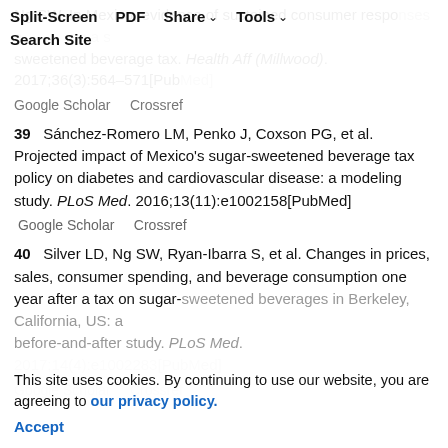Ng SW. In Mexico, evidence of sustained consumer responses appears and implies a sugar-sweetened beverage tax. Health Aff (Millwood). 2017;36(3):564–571[PubMed] Google Scholar Crossref
39  Sánchez-Romero LM, Penko J, Coxson PG, et al. Projected impact of Mexico's sugar-sweetened beverage tax policy on diabetes and cardiovascular disease: a modeling study. PLoS Med. 2016;13(11):e1002158[PubMed] Google Scholar Crossref
40  Silver LD, Ng SW, Ryan-Ibarra S, et al. Changes in prices, sales, consumer spending, and beverage consumption one year after a tax on sugar-sweetened beverages in Berkeley, California, US: a before-and-after study. PLoS Med. 2017;14(4):e1002283[PubMed] Google Scholar Crossref
This site uses cookies. By continuing to use our website, you are agreeing to our privacy policy. Accept